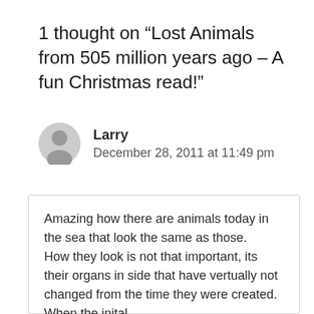1 thought on “Lost Animals from 505 million years ago – A fun Christmas read!”
Larry
December 28, 2011 at 11:49 pm
Amazing how there are animals today in the sea that look the same as those.
How they look is not that important, its their organs in side that have vertually not changed from the time they were created. When the inital